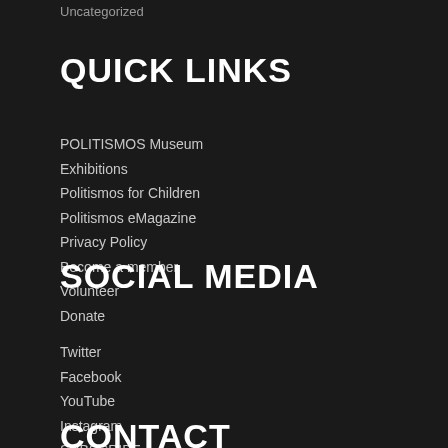Uncategorized
QUICK LINKS
POLITISMOS Museum
Exhibitions
Politismos for Children
Politismos eMagazine
Privacy Policy
Become a member
Volunteer
Donate
SOCIAL MEDIA
Twitter
Facebook
YouTube
Instagram
SUBSCRIBE
CONTACT